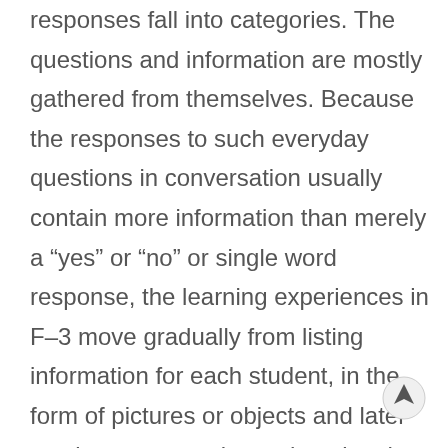responses fall into categories. The questions and information are mostly gathered from themselves. Because the responses to such everyday questions in conversation usually contain more information than merely a “yes” or “no” or single word response, the learning experiences in F–3 move gradually from listing information for each student, in the form of pictures or objects and later moving on to words, to choosing the relevant information to answer questions and classify responses where necessary. The initial questions are simple “yes/no” questions. The next step is to questions with possible responses falling into simple natural or given categories. Learning experiences then develop with questions for which classifications or categories need to be chosen or decided. Finally, some situations are considered in which a